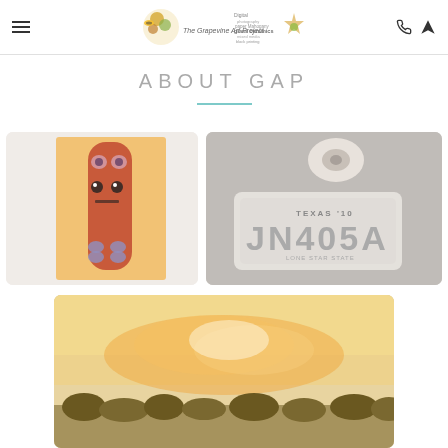The Grapevine Art Project - navigation header with logo, hamburger menu, phone and location icons
ABOUT GAP
[Figure (photo): Painted skateboard deck with a face-like design in orange/red tones on an orange background]
[Figure (photo): A Texas license plate mold/cast reading 'JN 405A' with a roll of tape, on a gray surface]
[Figure (photo): Partial view of a sunset or abstract orange/yellow painting with dark foliage at the bottom edge]